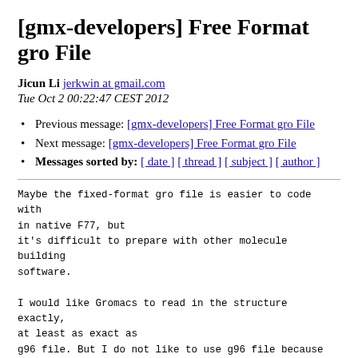[gmx-developers] Free Format gro File
Jicun Li jerkwin at gmail.com
Tue Oct 2 00:22:47 CEST 2012
Previous message: [gmx-developers] Free Format gro File
Next message: [gmx-developers] Free Format gro File
Messages sorted by: [ date ] [ thread ] [ subject ] [ author ]
Maybe the fixed-format gro file is easier to code with in native F77, but
it's difficult to prepare with other molecule building software.

I would like Gromacs to read in the structure exactly, at least as exact as
g96 file. But I do not like to use g96 file because there is no atom name
in it. I can not use other software to view the structure.

Jicun